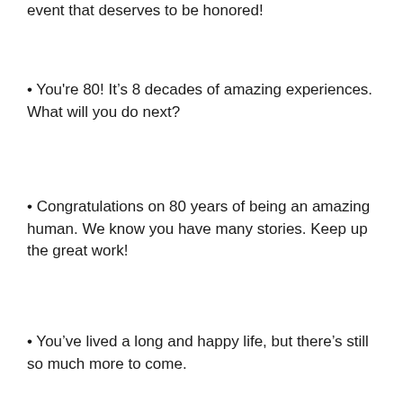event that deserves to be honored!
• You're 80! It's 8 decades of amazing experiences. What will you do next?
• Congratulations on 80 years of being an amazing human. We know you have many stories. Keep up the great work!
• You've lived a long and happy life, but there's still so much more to come.